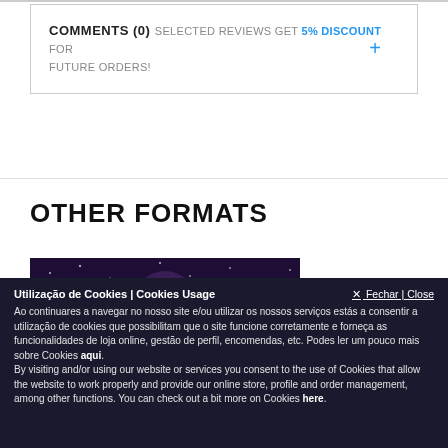COMMENTS (0) SELECTED REVIEWS GET 5% DISCOUNT FOR FUTURE ORDERS!
OTHER FORMATS
[Figure (illustration): Partial view of a dark fantasy illustration with purple/dark background showing a figure]
Utilização de Cookies | Cookies Usage × Fechar | Close
Ao continuares a navegar no nosso site e/ou utilizar os nossos serviços estás a consentir a utilização de cookies que possibilitam que o site funcione corretamente e forneça as funcionalidades de loja online, gestão de perfil, encomendas, etc. Podes ler um pouco mais sobre Cookies aqui.
By visiting and/or using our website or services you consent to the use of Cookies that allow the website to work properly and provide our online store, profile and order management, among other functions. You can check out a bit more on Cookies here.